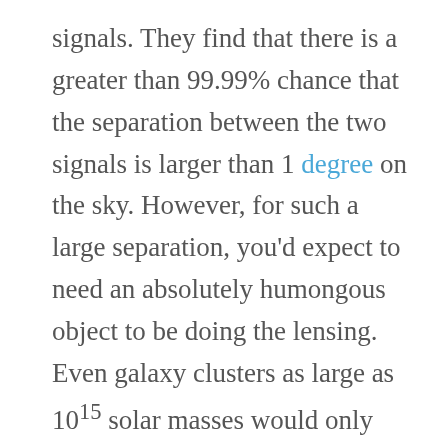signals. They find that there is a greater than 99.99% chance that the separation between the two signals is larger than 1 degree on the sky. However, for such a large separation, you'd expect to need an absolutely humongous object to be doing the lensing. Even galaxy clusters as large as 10^15 solar masses would only produce a typical separation of around one arcminute. Furthermore, the time delay between the two